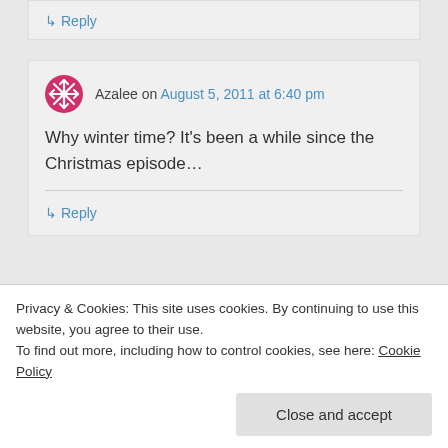↳ Reply
Azalee on August 5, 2011 at 6:40 pm
Why winter time? It's been a while since the Christmas episode…
↳ Reply
Azalee on August 5, 2011 at 6:41 pm
Privacy & Cookies: This site uses cookies. By continuing to use this website, you agree to their use.
To find out more, including how to control cookies, see here: Cookie Policy